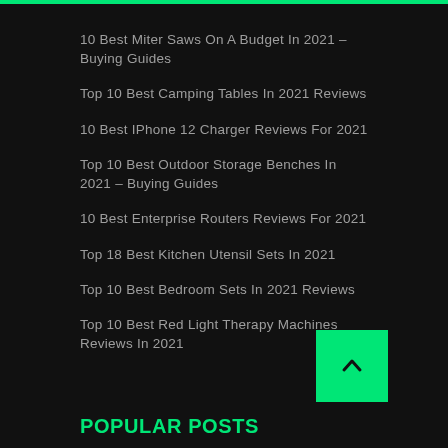10 Best Miter Saws On A Budget In 2021 – Buying Guides
Top 10 Best Camping Tables In 2021 Reviews
10 Best IPhone 12 Charger Reviews For 2021
Top 10 Best Outdoor Storage Benches In 2021 – Buying Guides
10 Best Enterprise Routers Reviews For 2021
Top 18 Best Kitchen Utensil Sets In 2021
Top 10 Best Bedroom Sets In 2021 Reviews
Top 10 Best Red Light Therapy Machines Reviews In 2021
POPULAR POSTS